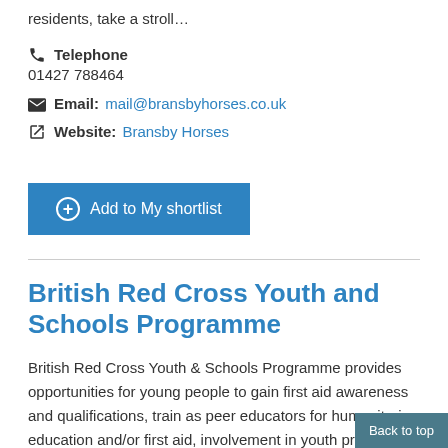residents, take a stroll…
Telephone
01427 788464
Email: mail@bransbyhorses.co.uk
Website: Bransby Horses
Add to My shortlist
British Red Cross Youth and Schools Programme
British Red Cross Youth & Schools Programme provides opportunities for young people to gain first aid awareness and qualifications, train as peer educators for humanitarian education and/or first aid, involvement in youth projects, volunteer for Red Cross services delivered locally e.g. first aid, medical loan,…